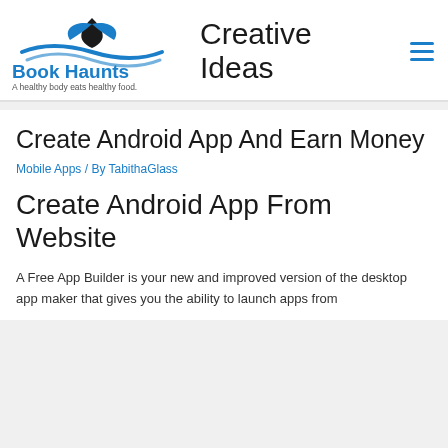[Figure (logo): Book Haunts logo with leaf and wave icon, site title 'Book Haunts' in blue bold, tagline 'A healthy body eats healthy food.']
Creative Ideas
Create Android App And Earn Money
Mobile Apps / By TabithaGlass
Create Android App From Website
A Free App Builder is your new and improved version of the desktop app maker that gives you the ability to launch apps from